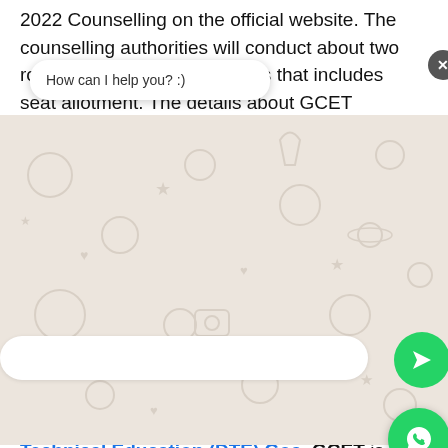2022 Counselling on the official website. The counselling authorities will conduct about two rounds of counselling process that includes seat allotment. The details about GCET counselling process like number of rounds, course and college available for admission, seat allotment criteria on the basis of reservation, etc will depend on the merit list prepared.
GCET 202...
Goa Common Entrance Test is the abbreviation for GCET conducted by Directorate of Technical Education (DTE) Goa. GCET is meant to grant seat in the various Engineering
[Figure (screenshot): WhatsApp chat widget overlay showing a chat bubble with 'How can I help you? :)', a patterned background with WhatsApp-style doodles, an input bar, a send button, a WhatsApp icon button, and a close (X) button.]